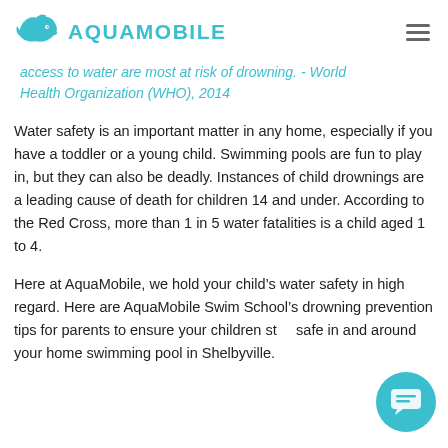AQUAMOBILE
access to water are most at risk of drowning. - World Health Organization (WHO), 2014
Water safety is an important matter in any home, especially if you have a toddler or a young child. Swimming pools are fun to play in, but they can also be deadly. Instances of child drownings are a leading cause of death for children 14 and under. According to the Red Cross, more than 1 in 5 water fatalities is a child aged 1 to 4.
Here at AquaMobile, we hold your child’s water safety in high regard. Here are AquaMobile Swim School’s drowning prevention tips for parents to ensure your children stay safe in and around your home swimming pool in Shelbyville.